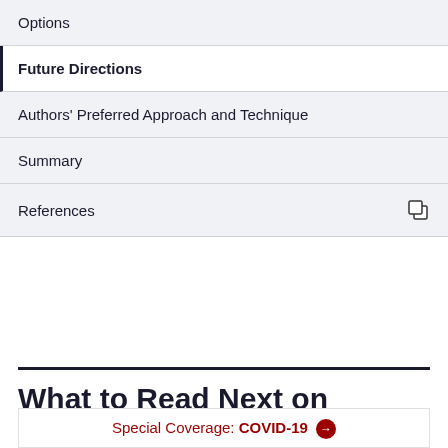Options
Future Directions
Authors' Preferred Approach and Technique
Summary
References
What to Read Next on Medscape
Special Coverage: COVID-19 →